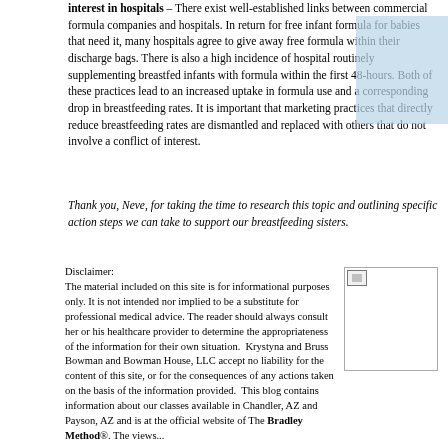interest in hospitals – There exist well-established links between commercial formula companies and hospitals. In return for free infant formula for babies that need it, many hospitals agree to give away free formula within their discharge bags. There is also a high incidence of hospital routinely supplementing breastfed infants with formula within the first 48-hours. Both of these practices lead to an increased uptake in formula use and a corresponding drop in breastfeeding rates. It is important that marketing practices that directly reduce breastfeeding rates are dismantled and replaced with others that do not involve a conflict of interest.
Thank you, Neve, for taking the time to research this topic and outlining specific action steps we can take to support our breastfeeding sisters.
Disclaimer:
The material included on this site is for informational purposes only. It is not intended nor implied to be a substitute for professional medical advice. The reader should always consult her or his healthcare provider to determine the appropriateness of the information for their own situation.  Krystyna and Bruss Bowman and Bowman House, LLC accept no liability for the content of this site, or for the consequences of any actions taken on the basis of the information provided.  This blog contains information about our classes available in Chandler, AZ and Payson, AZ and is at the official website of The Bradley Method®. The views...
[Figure (photo): Small image placeholder (broken image icon) in upper left corner of a bordered white image box]